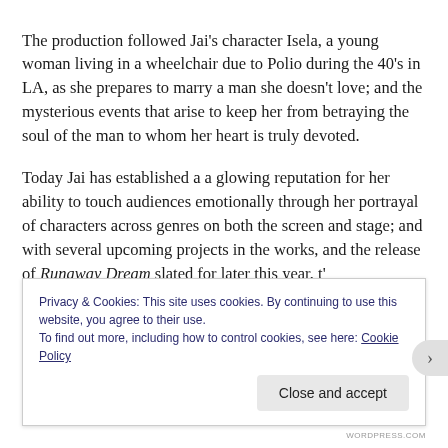The production followed Jai's character Isela, a young woman living in a wheelchair due to Polio during the 40's in LA, as she prepares to marry a man she doesn't love; and the mysterious events that arise to keep her from betraying the soul of the man to whom her heart is truly devoted.
Today Jai has established a a glowing reputation for her ability to touch audiences emotionally through her portrayal of characters across genres on both the screen and stage; and with several upcoming projects in the works, and the release of Runaway Dream slated for later this year, t'…
Privacy & Cookies: This site uses cookies. By continuing to use this website, you agree to their use.
To find out more, including how to control cookies, see here: Cookie Policy
Close and accept